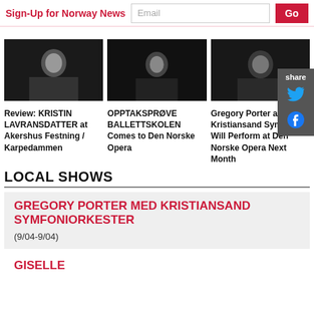Sign-Up for Norway News   Email   Go
Review: KRISTIN LAVRANSDATTER at Akershus Festning / Karpedammen
OPPTAKSPRØVE BALLETTSKOLEN Comes to Den Norske Opera
Gregory Porter and the Kristiansand Symphony Will Perform at Den Norske Opera Next Month
LOCAL SHOWS
GREGORY PORTER MED KRISTIANSAND SYMFONIORKESTER (9/04-9/04)
GISELLE